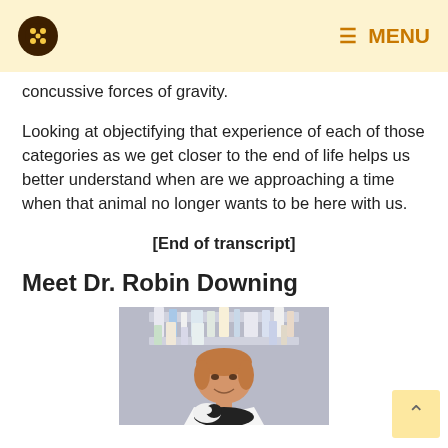MENU
concussive forces of gravity.
Looking at objectifying that experience of each of those categories as we get closer to the end of life helps us better understand when are we approaching a time when that animal no longer wants to be here with us.
[End of transcript]
Meet Dr. Robin Downing
[Figure (photo): Photo of Dr. Robin Downing, a woman with short reddish-brown hair wearing a white coat, smiling, with a black and white animal (appears to be a cat or dog) in front of her and shelves with medical/pharmacy bottles in the background.]